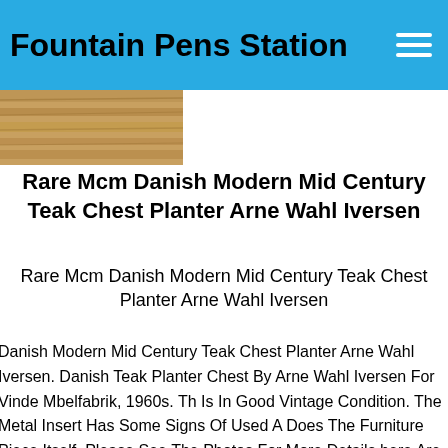Fountain Pens Station
[Figure (photo): Partial view of a wooden teak surface, showing wood grain texture in warm brown tones.]
Rare Mcm Danish Modern Mid Century Teak Chest Planter Arne Wahl Iversen
Rare Mcm Danish Modern Mid Century Teak Chest Planter Arne Wahl Iversen
Danish Modern Mid Century Teak Chest Planter Arne Wahl Iversen. Danish Teak Planter Chest By Arne Wahl Iversen For Vinde Mbelfabrik, 1960s. This Is In Good Vintage Condition. The Metal Insert Has Some Signs Of Used As Does The Furniture Piece Itself, Please See The Photos For More Details. There Are A Few Scrapes And Scratches As Expected With Something This Age. Thank You For Your Interest. If You Were To Like Shipping, There Is A Ups Store In Clark Summit That Does Do Drop And Ship. If You Were To Contact Them We Could Drop The Chest Plantar Off. Thank You Again.